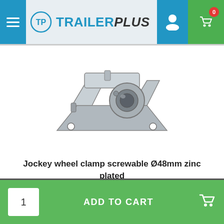[Figure (logo): TrailerPlus logo with circular TP emblem and text TRAILERPLUS, PLUS in italic]
[Figure (photo): Jockey wheel clamp screwable zinc plated metal component, angled bracket with circular hole, silver/grey metallic finish]
Jockey wheel clamp screwable Ø48mm zinc plated
Productcode: AA5038
ADD TO CART